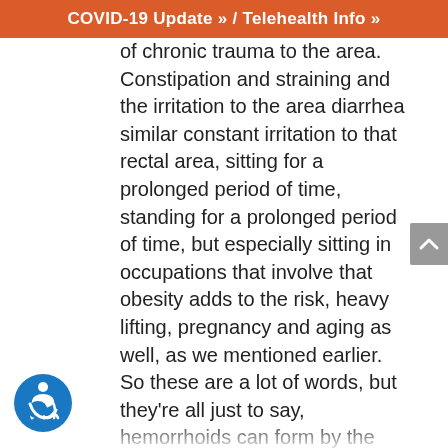COVID-19 Update » / Telehealth Info »
of chronic trauma to the area. Constipation and straining and the irritation to the area diarrhea similar constant irritation to that rectal area, sitting for a prolonged period of time, standing for a prolonged period of time, but especially sitting in occupations that involve that obesity adds to the risk, heavy lifting, pregnancy and aging as well, as we mentioned earlier. So these are a lot of words, but they're all just to say, hemorrhoids can form by the swelling of the blood vessels that exists in the bottom of the rectal area. We all have these hemorrhoidal veins. Every human being does these labyrinths, these plexus of blood vessels, and we call it hemorrhoids. When these blood vessels get swollen and dilated, chronic straining...